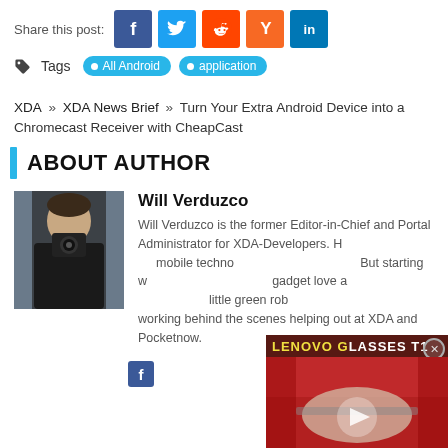Share this post:
Tags  All Android  application
XDA » XDA News Brief » Turn Your Extra Android Device into a Chromecast Receiver with CheapCast
ABOUT AUTHOR
Will Verduzco
Will Verduzco is the former Editor-in-Chief and Portal Administrator for XDA-Developers. He has a passion for mobile technology and photography. But starting with Android kindled his gadget love and keeps him chasing that little green robot. He has now stopped working behind the scenes helping out at XDA and Pocketnow.
[Figure (photo): Video thumbnail overlay: Lenovo Glasses T1 with play button]
[Figure (photo): Author photo of Will Verduzco taking a selfie with a camera in a mirror]